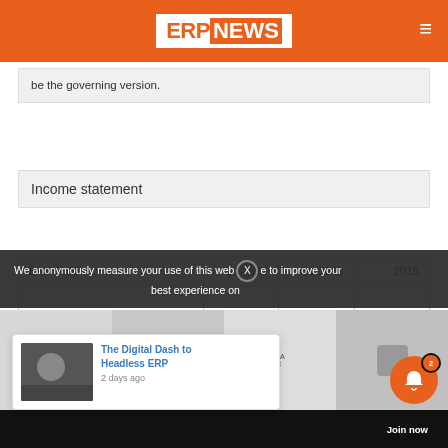ERP NEWS
be the governing version.
Income statement
| DKK ´000 | Q1 2017 | Q1 2016 | 2016 |
| --- | --- | --- | --- |
|  |  |  |  |
| Net revenue | 310.053 | 275.331 | 1.192.707 |